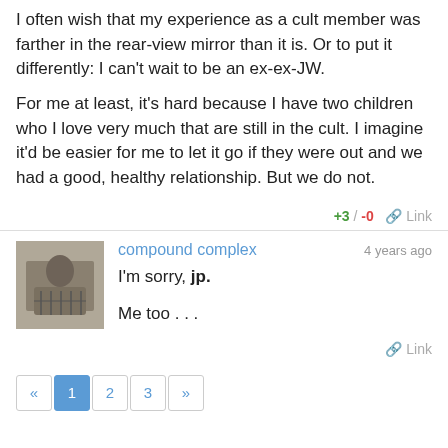I often wish that my experience as a cult member was farther in the rear-view mirror than it is. Or to put it differently: I can't wait to be an ex-ex-JW.

For me at least, it's hard because I have two children who I love very much that are still in the cult. I imagine it'd be easier for me to let it go if they were out and we had a good, healthy relationship. But we do not.
+3 / -0  Link
compound complex  4 years ago
I'm sorry, jp.

Me too . . .

Link
« 1 2 3 »